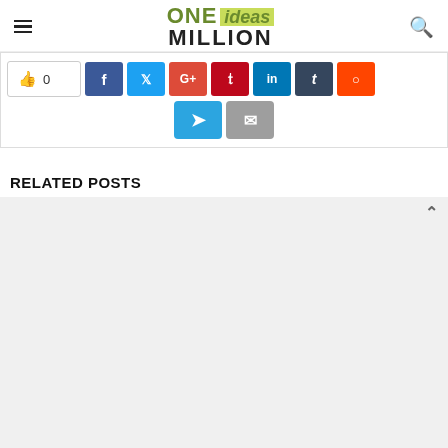ONE ideas MILLION
[Figure (screenshot): Social media share buttons row: thumbs-up 0, Facebook, Twitter, Google+, Pinterest, LinkedIn, Tumblr, Reddit, then second row: Telegram, Email]
RELATED POSTS
[Figure (other): Related posts image placeholder area (light grey background)]